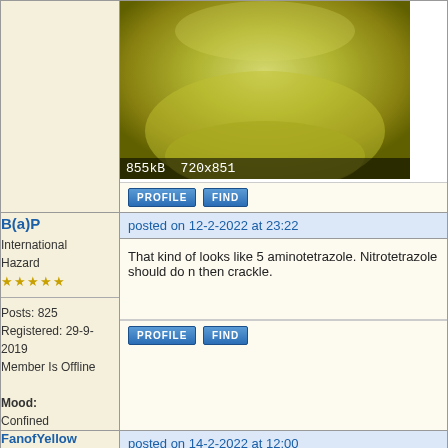[Figure (photo): Close-up photo of a yellowish-green substance in a glass container, 855kB 720x851]
PROFILE   FIND
B(a)P
International Hazard
★★★★★
posted on 12-2-2022 at 23:22
That kind of looks like 5 aminotetrazole. Nitrotetrazole should do n... then crackle.
Posts: 825
Registered: 29-9-2019
Member Is Offline
Mood: Confined
PROFILE   FIND
FanofYellow
Harmless
★
posted on 14-2-2022 at 12:00